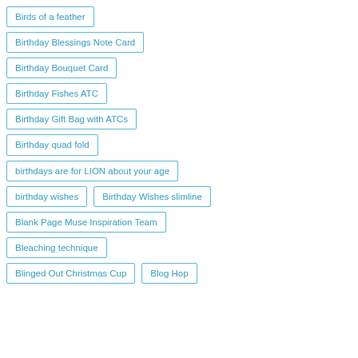Birds of a feather
Birthday Blessings Note Card
Birthday Bouquet Card
Birthday Fishes ATC
Birthday Gift Bag with ATCs
Birthday quad fold
birthdays are for LION about your age
birthday wishes
Birthday Wishes slimline
Blank Page Muse Inspiration Team
Bleaching technique
Blinged Out Christmas Cup
Blog Hop